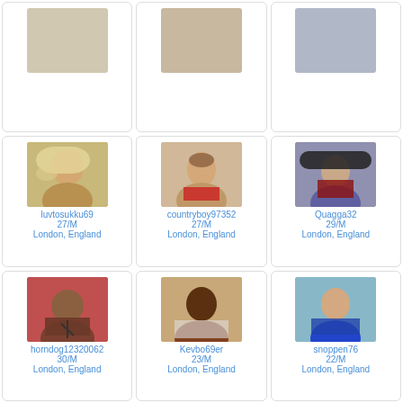[Figure (photo): Empty/placeholder profile photo cell, top-left]
[Figure (photo): Empty/placeholder profile photo cell, top-middle]
[Figure (photo): Empty/placeholder profile photo cell, top-right]
[Figure (photo): Profile photo of luvtosukku69]
luvtosukku69
27/M
London, England
[Figure (photo): Profile photo of countryboy97352]
countryboy97352
27/M
London, England
[Figure (photo): Profile photo of Quagga32]
Quagga32
29/M
London, England
[Figure (photo): Profile photo of horndog12320062]
horndog12320062
30/M
London, England
[Figure (photo): Profile photo of Kevbo69er]
Kevbo69er
23/M
London, England
[Figure (photo): Profile photo of snoppen76]
snoppen76
22/M
London, England